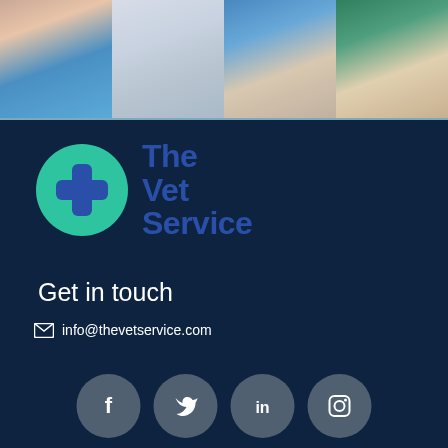[Figure (photo): Collage of four veterinary photos: female vet holding orange cat, vet in white coat holding small puppy, husky dog with tongue out, vet in green scrubs with cattle]
[Figure (logo): The Vet Service logo: green circle with blue medical cross, text 'The Vet Service' in dark blue bold]
Get in touch
info@thevetservice.com
[Figure (infographic): Social media icons row: Facebook, Twitter, LinkedIn, Instagram — white icons on grey circles]